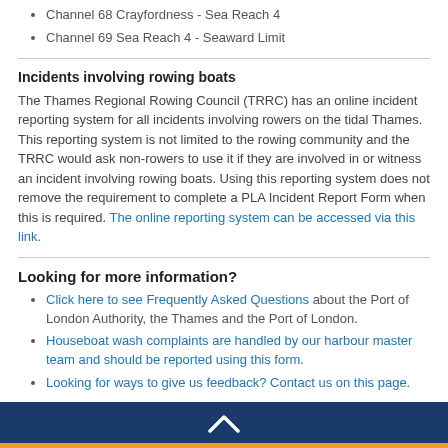Channel 68 Crayfordness - Sea Reach 4
Channel 69 Sea Reach 4 - Seaward Limit
Incidents involving rowing boats
The Thames Regional Rowing Council (TRRC) has an online incident reporting system for all incidents involving rowers on the tidal Thames. This reporting system is not limited to the rowing community and the TRRC would ask non-rowers to use it if they are involved in or witness an incident involving rowing boats. Using this reporting system does not remove the requirement to complete a PLA Incident Report Form when this is required. The online reporting system can be accessed via this link.
Looking for more information?
Click here to see Frequently Asked Questions about the Port of London Authority, the Thames and the Port of London.
Houseboat wash complaints are handled by our harbour master team and should be reported using this form.
Looking for ways to give us feedback? Contact us on this page.